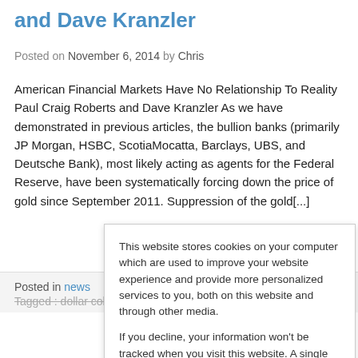and Dave Kranzler
Posted on November 6, 2014 by Chris
American Financial Markets Have No Relationship To Reality Paul Craig Roberts and Dave Kranzler As we have demonstrated in previous articles, the bullion banks (primarily JP Morgan, HSBC, ScotiaMocatta, Barclays, UBS, and Deutsche Bank), most likely acting as agents for the Federal Reserve, have been systematically forcing down the price of gold since September 2011. Suppression of the gold[...]
Posted in news
Tagged: dollar collapse, dollar hegemony, economic collapse
This website stores cookies on your computer which are used to improve your website experience and provide more personalized services to you, both on this website and through other media.

If you decline, your information won't be tracked when you visit this website. A single cookie will be used in your browser to remember your preference not to be tracked.